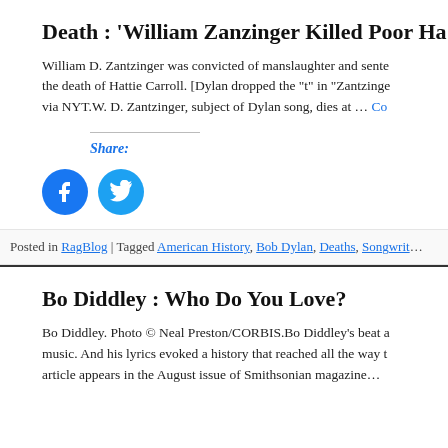Death : ‘William Zanzinger Killed Poor Ha…
William D. Zantzinger was convicted of manslaughter and sente… the death of Hattie Carroll. [Dylan dropped the “t” in “Zantzing… via NYT.W. D. Zantzinger, subject of Dylan song, dies at … Co…
Share:
[Figure (illustration): Facebook and Twitter share icon buttons (circular blue buttons with logos)]
Posted in RagBlog | Tagged American History, Bob Dylan, Deaths, Songwrit…
Bo Diddley : Who Do You Love?
Bo Diddley. Photo © Neal Preston/CORBIS.Bo Diddley’s beat … music. And his lyrics evoked a history that reached all the way t… article appears in the August issue of Smithsonian magazine…